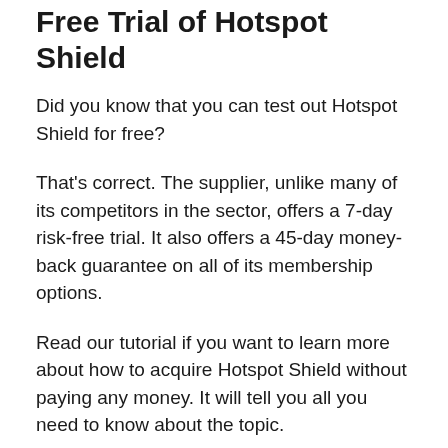Free Trial of Hotspot Shield
Did you know that you can test out Hotspot Shield for free?
That's correct. The supplier, unlike many of its competitors in the sector, offers a 7-day risk-free trial. It also offers a 45-day money-back guarantee on all of its membership options.
Read our tutorial if you want to learn more about how to acquire Hotspot Shield without paying any money. It will tell you all you need to know about the topic.
What Is Hotspot Shield and